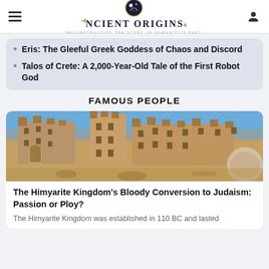Ancient Origins — Reconstructing the Story of Humanity's Past
Eris: The Gleeful Greek Goddess of Chaos and Discord
Talos of Crete: A 2,000-Year-Old Tale of the First Robot God
FAMOUS PEOPLE
[Figure (photo): Ancient stone fortress ruins with blue sky background, showing large sandstone walls and buildings]
The Himyarite Kingdom's Bloody Conversion to Judaism: Passion or Ploy?
The Himyarite Kingdom was established in 110 BC and lasted